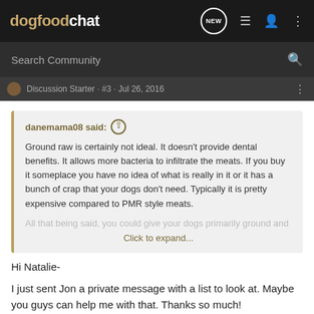dogfoodchat
Search Community
Discussion Starter · #3 · Jul 26, 2016
danemama08 said: ↑
Ground raw is certainly not ideal. It doesn't provide dental benefits. It allows more bacteria to infiltrate the meats. If you buy it someplace you have no idea of what is really in it or it has a bunch of crap that your dogs don't need. Typically it is pretty expensive compared to PMR style meats.

All that being said, you could give your dogs primarily ground and
Click to expand...
Hi Natalie-
I just sent Jon a private message with a list to look at. Maybe you guys can help me with that. Thanks so much!